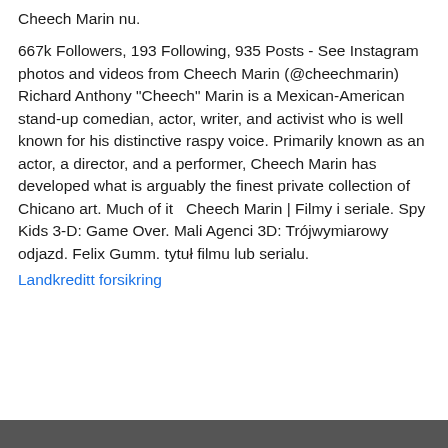Cheech Marin nu.
667k Followers, 193 Following, 935 Posts - See Instagram photos and videos from Cheech Marin (@cheechmarin) Richard Anthony "Cheech" Marin is a Mexican-American stand-up comedian, actor, writer, and activist who is well known for his distinctive raspy voice. Primarily known as an actor, a director, and a performer, Cheech Marin has developed what is arguably the finest private collection of Chicano art. Much of it   Cheech Marin | Filmy i seriale. Spy Kids 3-D: Game Over. Mali Agenci 3D: Trójwymiarowy odjazd. Felix Gumm. tytuł filmu lub serialu.
Landkreditt forsikring